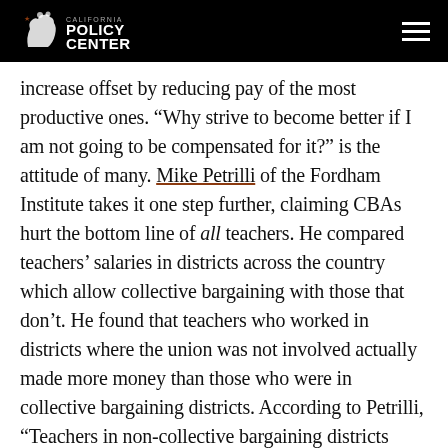California Policy Center
increase offset by reducing pay of the most productive ones. “Why strive to become better if I am not going to be compensated for it?” is the attitude of many. Mike Petrilli of the Fordham Institute takes it one step further, claiming CBAs hurt the bottom line of all teachers. He compared teachers’ salaries in districts across the country which allow collective bargaining with those that don’t. He found that teachers who worked in districts where the union was not involved actually made more money than those who were in collective bargaining districts. According to Petrilli, “Teachers in non-collective bargaining districts actually earn more than their union-protected peers – $64,500 on average versus $57,500.”